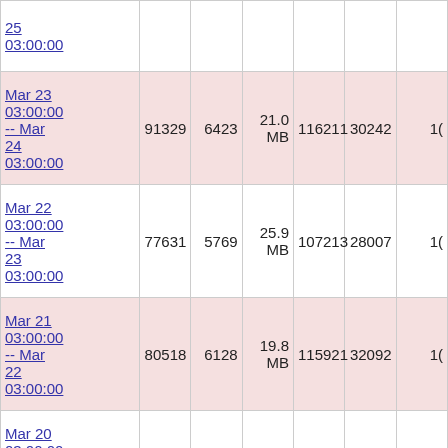| Date Range | Col2 | Col3 | Col4 | Col5 | Col6 | Col7 |
| --- | --- | --- | --- | --- | --- | --- |
| 25 03:00:00 |  |  |  |  |  |  |
| Mar 23 03:00:00 -- Mar 24 03:00:00 | 91329 | 6423 | 21.0 MB | 116211 | 30242 | 10... |
| Mar 22 03:00:00 -- Mar 23 03:00:00 | 77631 | 5769 | 25.9 MB | 107213 | 28007 | 10... |
| Mar 21 03:00:00 -- Mar 22 03:00:00 | 80518 | 6128 | 19.8 MB | 115921 | 32092 | 10... |
| Mar 20 03:00:00 -- Mar 21 03:00:00 | 82025 | 5955 | 24.3 MB | 112065 | 32058 | 13... |
| Mar 19 03:00:00 |  |  | 34.1... |  |  |  |